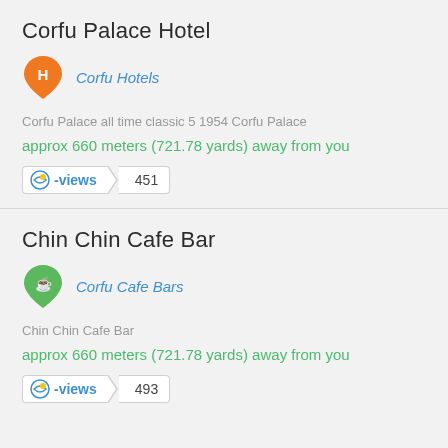Corfu Palace Hotel
[Figure (logo): Orange hotel map pin badge with white H letter, next to italic blue link text 'Corfu Hotels']
Corfu Palace all time classic 5 1954 Corfu Palace
approx 660 meters (721.78 yards) away from you
[Figure (other): C-views badge with count 451]
Chin Chin Cafe Bar
[Figure (logo): Green cafe bar map pin badge with coffee cup icon, next to italic blue link text 'Corfu Cafe Bars']
Chin Chin Cafe Bar
approx 660 meters (721.78 yards) away from you
[Figure (other): C-views badge with count 493]